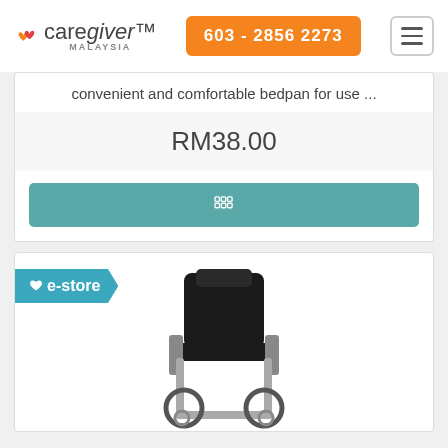[Figure (logo): Caregiver Malaysia logo with heart icon and orange phone button and hamburger menu]
convenient and comfortable bedpan for use ...
RM38.00
🛒 (add to cart button with cart icon)
[Figure (photo): E-store badge with heart icon and reclining wheelchair product photo]